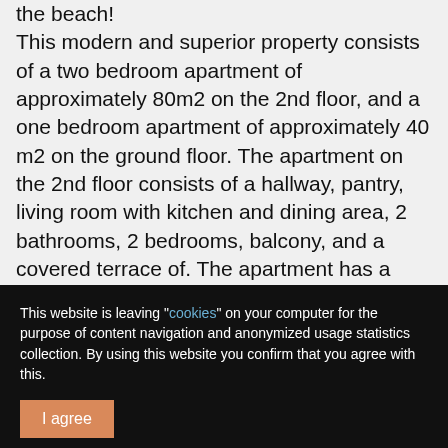the beach! This modern and superior property consists of a two bedroom apartment of approximately 80m2 on the 2nd floor, and a one bedroom apartment of approximately 40 m2 on the ground floor. The apartment on the 2nd floor consists of a hallway, pantry, living room with kitchen and dining area, 2 bathrooms, 2 bedrooms, balcony, and a covered terrace of. The apartment has a beautifully landscaped garden of 100 m2 with swimming pool and 2 parking spaces. Top materials, floor coverings and an air-
This website is leaving "cookies" on your computer for the purpose of content navigation and anonymized usage statistics collection. By using this website you confirm that you agree with this.
I agree